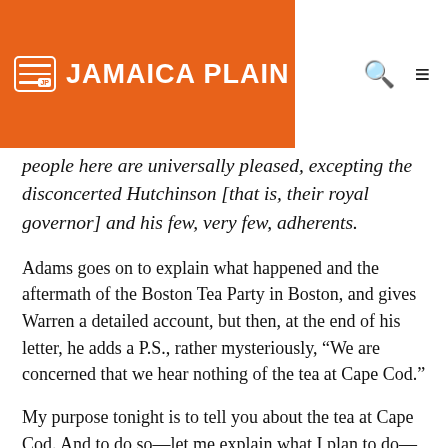JAMAICA PLAIN NEWS
people here are universally pleased, excepting the disconcerted Hutchinson [that is, their royal governor] and his few, very few, adherents.
Adams goes on to explain what happened and the aftermath of the Boston Tea Party in Boston, and gives Warren a detailed account, but then, at the end of his letter, he adds a P.S., rather mysteriously, “We are concerned that we hear nothing of the tea at Cape Cod.”
My purpose tonight is to tell you about the tea at Cape Cod. And to do so—let me explain what I plan to do—I’m going to tell you the story of two shipwrecks: one that takes place in the fall of 1773, just before the Boston Tea Party, and another five years later, during the Revolution, and how the…